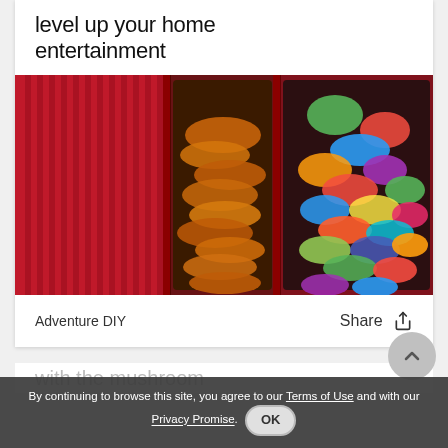level up your home entertainment
[Figure (photo): A photo showing two glass jars filled with snacks — one with orange chips/crisps and one with colorful gummy candies, displayed against a red background reminiscent of a candy store or home theater snack bar.]
Adventure DIY
Share
[Figure (other): Partially visible text of next article below]
By continuing to browse this site, you agree to our Terms of Use and with our Privacy Promise. OK